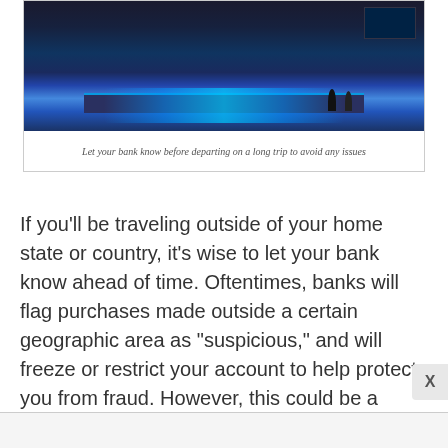[Figure (photo): Airport check-in or customs area with blue glowing counter, departure/arrival information boards in background, silhouettes of people standing at counter]
Let your bank know before departing on a long trip to avoid any issues
If you'll be traveling outside of your home state or country, it's wise to let your bank know ahead of time. Oftentimes, banks will flag purchases made outside a certain geographic area as “suspicious,” and will freeze or restrict your account to help protect you from fraud. However, this could be a major inconvenience if it occurs while traveling.